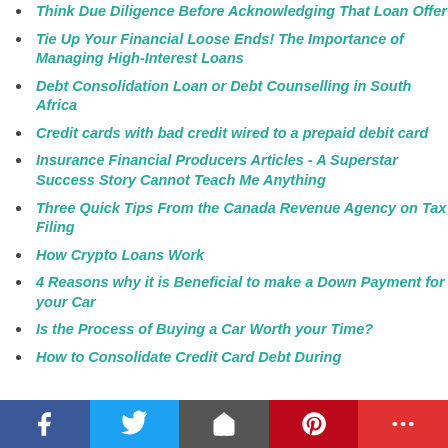Think Due Diligence Before Acknowledging That Loan Offer
Tie Up Your Financial Loose Ends! The Importance of Managing High-Interest Loans
Debt Consolidation Loan or Debt Counselling in South Africa
Credit cards with bad credit wired to a prepaid debit card
Insurance Financial Producers Articles - A Superstar Success Story Cannot Teach Me Anything
Three Quick Tips From the Canada Revenue Agency on Tax Filing
How Crypto Loans Work
4 Reasons why it is Beneficial to make a Down Payment for your Car
Is the Process of Buying a Car Worth your Time?
How to Consolidate Credit Card Debt During